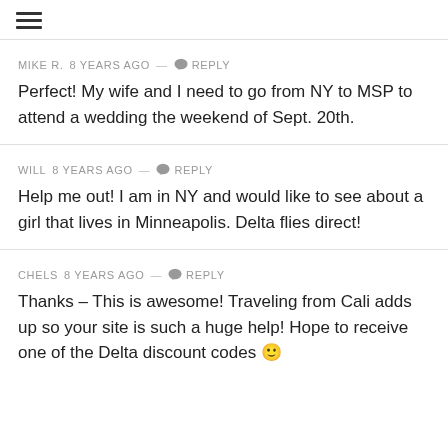≡
MIKE R.  8 years ago  —  💬 Reply
Perfect! My wife and I need to go from NY to MSP to attend a wedding the weekend of Sept. 20th.
WILL  8 years ago  —  💬 Reply
Help me out! I am in NY and would like to see about a girl that lives in Minneapolis. Delta flies direct!
CHELS  8 years ago  —  💬 Reply
Thanks – This is awesome! Traveling from Cali adds up so your site is such a huge help! Hope to receive one of the Delta discount codes 🙂